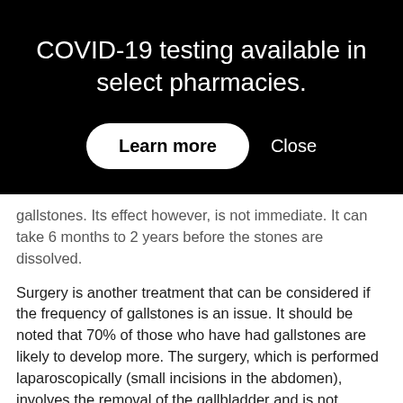COVID-19 testing available in select pharmacies.
Learn more
Close
gallstones. Its effect however, is not immediate. It can take 6 months to 2 years before the stones are dissolved.
Surgery is another treatment that can be considered if the frequency of gallstones is an issue. It should be noted that 70% of those who have had gallstones are likely to develop more. The surgery, which is performed laparoscopically (small incisions in the abdomen), involves the removal of the gallbladder and is not associated with any negative long-term effects.